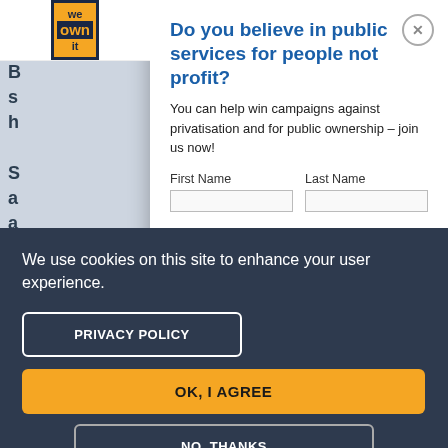[Figure (screenshot): Partially visible website background with light blue-grey background and partial text visible]
[Figure (logo): We Own It logo - dark navy border with orange background, text reads 'we own it']
Do you believe in public services for people not profit?
You can help win campaigns against privatisation and for public ownership – join us now!
First Name    Last Name
We use cookies on this site to enhance your user experience.
PRIVACY POLICY
OK, I AGREE
NO, THANKS